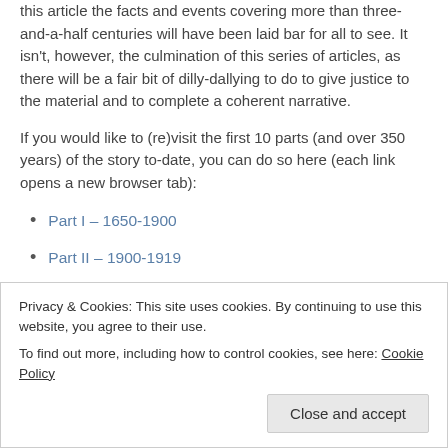this article the facts and events covering more than three-and-a-half centuries will have been laid bar for all to see. It isn't, however, the culmination of this series of articles, as there will be a fair bit of dilly-dallying to do to give justice to the material and to complete a coherent narrative.
If you would like to (re)visit the first 10 parts (and over 350 years) of the story to-date, you can do so here (each link opens a new browser tab):
Part I – 1650-1900
Part II – 1900-1919
Part III – 1920-1939
Part IV – 1940-1949
Part V – 1950-1959
Privacy & Cookies: This site uses cookies. By continuing to use this website, you agree to their use. To find out more, including how to control cookies, see here: Cookie Policy
Close and accept